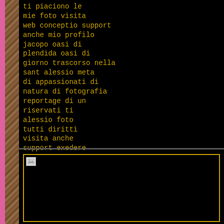ti piaciono le
mie foto visita
web conceptio support
anche mio profilo
jacopo oasi di
plendida oasi di
giorno trascorso nella
sant alessio meta
di appassionati di
natura di fotografia
reportage di un
riservati ti
alessio foto
tutti diritti
visita anche
support exedere
web conceptio
plendida oasi
[Figure (photo): Black image area with a small broken image icon in the upper-left corner, bordered by a gold/yellow rectangle outline]